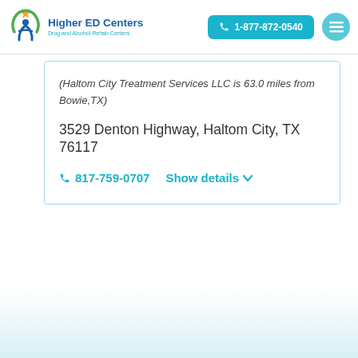[Figure (logo): Higher ED Centers logo with figure and green circle, Drug and Alcohol Rehab Centers]
Higher ED Centers Drug and Alcohol Rehab Centers | 1-877-872-0540
(Haltom City Treatment Services LLC is 63.0 miles from Bowie,TX)
3529 Denton Highway, Haltom City, TX 76117
817-759-0707 Show details